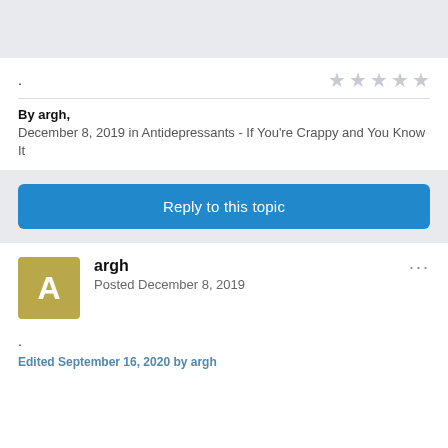.
By argh, December 8, 2019 in Antidepressants - If You're Crappy and You Know It
Reply to this topic
argh
Posted December 8, 2019
.
Edited September 16, 2020 by argh